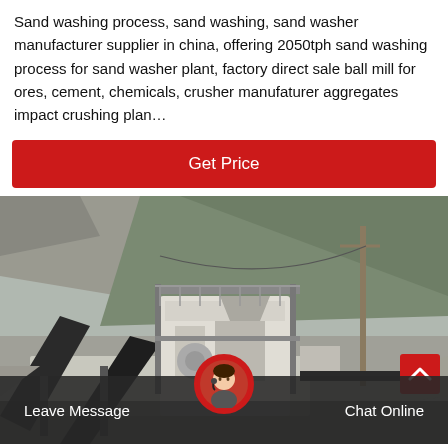Sand washing process, sand washing, sand washer manufacturer supplier in china, offering 2050tph sand washing process for sand washer plant, factory direct sale ball mill for ores, cement, chemicals, crusher manufaturer aggregates impact crushing plan…
[Figure (other): Red button labeled 'Get Price']
[Figure (photo): Outdoor quarry/crusher plant with conveyor belts, a white crusher machine on a platform, rocky hillside with trees in the background, industrial equipment and scaffolding.]
Leave Message
Chat Online